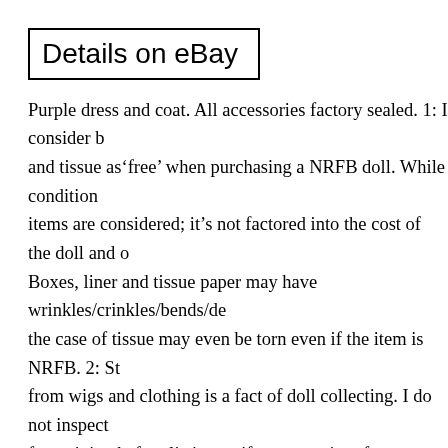Details on eBay
Purple dress and coat. All accessories factory sealed. 1: I consider boxes and tissue as‘free’ when purchasing a NRFB doll. While condition of these items are considered; it’s not factored into the cost of the doll and other items. Boxes, liner and tissue paper may have wrinkles/crinkles/bends/dents and in the case of tissue may even be torn even if the item is NRFB. 2: Staining from wigs and clothing is a fact of doll collecting. I do not inspect items for staining before listing so if upon receipt of your item, if there are stains, it is not considered to be a flaw, imperfection, defective or any other reason to return‘Item as not described’. 4: International Shoppers: Choosing this service is only available for items whose boxed weight is less than lbs and overall dimensions do not exceed 36 in length, width and height and can take up to 6 weeks to arrive and even longer. There is no tracking. Cannot be traced in case of loss. Please contact your agencies for further details. Unless stated otherwise, please assume all items are from a smoke free environment; no odors, no exposure to moisture, no insects, da mold, dust etc. The item “EMMA JEAN’S PERFECT ENSEMBL